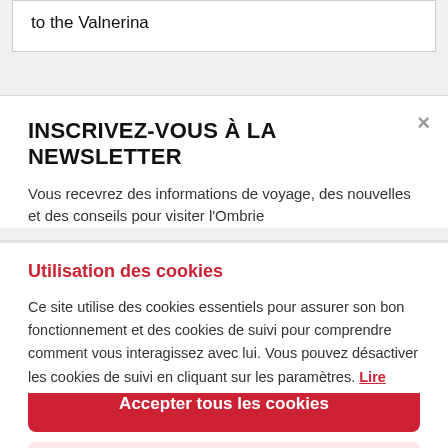to the Valnerina
INSCRIVEZ-VOUS À LA NEWSLETTER
Vous recevrez des informations de voyage, des nouvelles et des conseils pour visiter l'Ombrie
Utilisation des cookies
Ce site utilise des cookies essentiels pour assurer son bon fonctionnement et des cookies de suivi pour comprendre comment vous interagissez avec lui. Vous pouvez désactiver les cookies de suivi en cliquant sur les paramètres. Lire
Accepter tous les cookies
label.cookies.secondary_btn.text